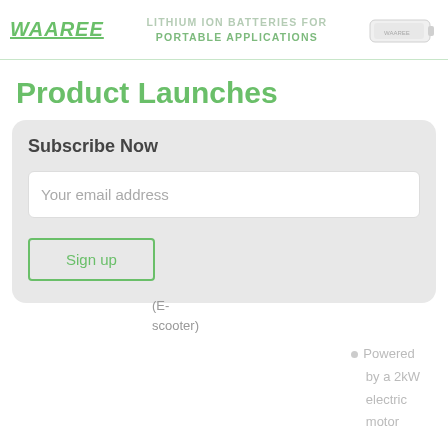WAAREE — LITHIUM ION BATTERIES FOR PORTABLE APPLICATIONS
Product Launches
Subscribe Now
Your email address
Sign up
(E-scooter)
Powered by a 2kW electric motor